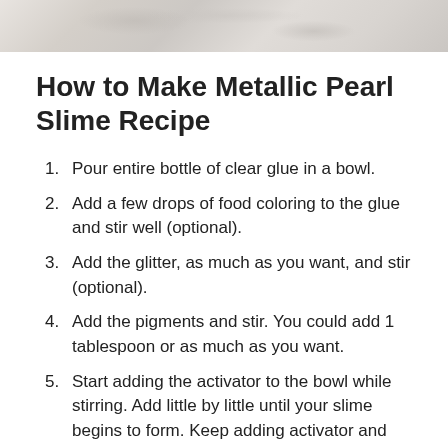[Figure (photo): Marble texture background image at the top of the page]
How to Make Metallic Pearl Slime Recipe
Pour entire bottle of clear glue in a bowl.
Add a few drops of food coloring to the glue and stir well (optional).
Add the glitter, as much as you want, and stir (optional).
Add the pigments and stir. You could add 1 tablespoon or as much as you want.
Start adding the activator to the bowl while stirring. Add little by little until your slime begins to form. Keep adding activator and